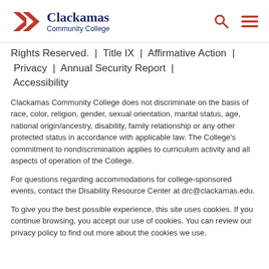Clackamas Community College
Rights Reserved.  |  Title IX  |  Affirmative Action  |  Privacy  |  Annual Security Report  |  Accessibility
Clackamas Community College does not discriminate on the basis of race, color, religion, gender, sexual orientation, marital status, age, national origin/ancestry, disability, family relationship or any other protected status in accordance with applicable law. The College's commitment to nondiscrimination applies to curriculum activity and all aspects of operation of the College.
For questions regarding accommodations for college-sponsored events, contact the Disability Resource Center at drc@clackamas.edu.
To give you the best possible experience, this site uses cookies. If you continue browsing, you accept our use of cookies. You can review our privacy policy to find out more about the cookies we use.